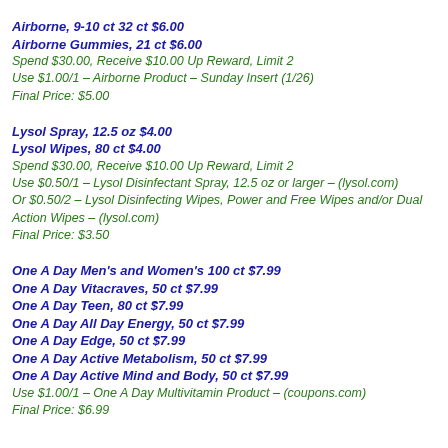Airborne, 9-10 ct 32 ct $6.00
Airborne Gummies, 21 ct $6.00
Spend $30.00, Receive $10.00 Up Reward, Limit 2
Use $1.00/1 – Airborne Product – Sunday Insert (1/26)
Final Price: $5.00
Lysol Spray, 12.5 oz $4.00
Lysol Wipes, 80 ct $4.00
Spend $30.00, Receive $10.00 Up Reward, Limit 2
Use $0.50/1 – Lysol Disinfectant Spray, 12.5 oz or larger – (lysol.com)
Or $0.50/2 – Lysol Disinfecting Wipes, Power and Free Wipes and/or Dual Action Wipes – (lysol.com)
Final Price: $3.50
One A Day Men's and Women's 100 ct $7.99
One A Day Vitacraves, 50 ct $7.99
One A Day Teen, 80 ct $7.99
One A Day All Day Energy, 50 ct $7.99
One A Day Edge, 50 ct $7.99
One A Day Active Metabolism, 50 ct $7.99
One A Day Active Mind and Body, 50 ct $7.99
Use $1.00/1 – One A Day Multivitamin Product – (coupons.com)
Final Price: $6.99